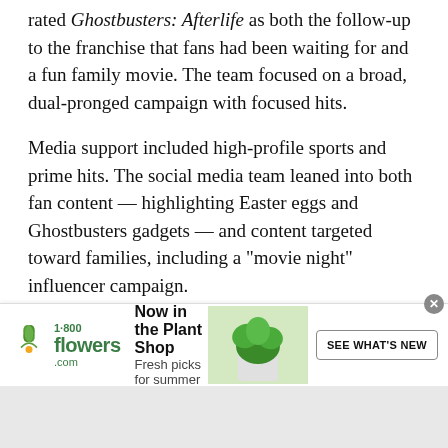rated Ghostbusters: Afterlife as both the follow-up to the franchise that fans had been waiting for and a fun family movie. The team focused on a broad, dual-pronged campaign with focused hits.
Media support included high-profile sports and prime hits. The social media team leaned into both fan content — highlighting Easter eggs and Ghostbusters gadgets — and content targeted toward families, including a “movie night” influencer campaign.
Press opportunities were robust, as many members of the cast did broadcast and radio interviews in support of the home entertainment release. And two Twitter watch parties — planned to the digital
[Figure (screenshot): 1-800-flowers.com advertisement banner: Now in the Plant Shop, Fresh picks for summer, with plant image and SEE WHAT'S NEW button]